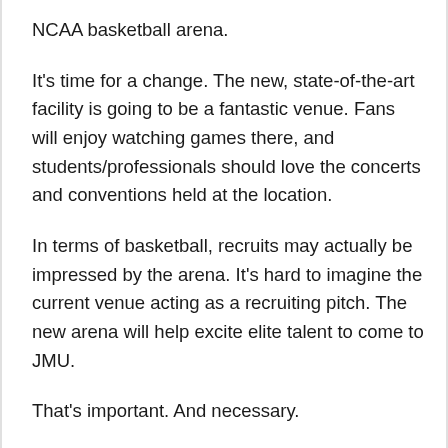NCAA basketball arena.
It's time for a change. The new, state-of-the-art facility is going to be a fantastic venue. Fans will enjoy watching games there, and students/professionals should love the concerts and conventions held at the location.
In terms of basketball, recruits may actually be impressed by the arena. It's hard to imagine the current venue acting as a recruiting pitch. The new arena will help excite elite talent to come to JMU.
That's important. And necessary.
The women's team already lands talented